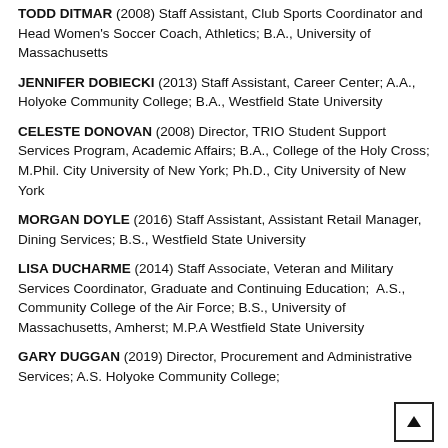TODD DITMAR (2008) Staff Assistant, Club Sports Coordinator and Head Women's Soccer Coach, Athletics; B.A., University of Massachusetts
JENNIFER DOBIECKI (2013) Staff Assistant, Career Center; A.A., Holyoke Community College; B.A., Westfield State University
CELESTE DONOVAN (2008) Director, TRIO Student Support Services Program, Academic Affairs; B.A., College of the Holy Cross; M.Phil. City University of New York; Ph.D., City University of New York
MORGAN DOYLE (2016) Staff Assistant, Assistant Retail Manager, Dining Services; B.S., Westfield State University
LISA DUCHARME (2014) Staff Associate, Veteran and Military Services Coordinator, Graduate and Continuing Education;  A.S., Community College of the Air Force; B.S., University of Massachusetts, Amherst; M.P.A Westfield State University
GARY DUGGAN (2019) Director, Procurement and Administrative Services; A.S. Holyoke Community College;